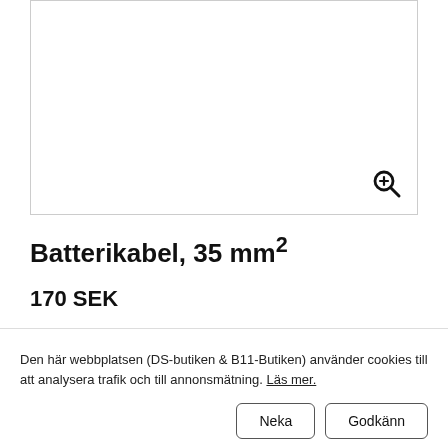[Figure (photo): White product image area with a zoom-in magnifier icon in the bottom right corner]
Batterikabel, 35 mm²
170 SEK
Den här webbplatsen (DS-butiken & B11-Butiken) använder cookies till att analysera trafik och till annonsmätning. Läs mer.